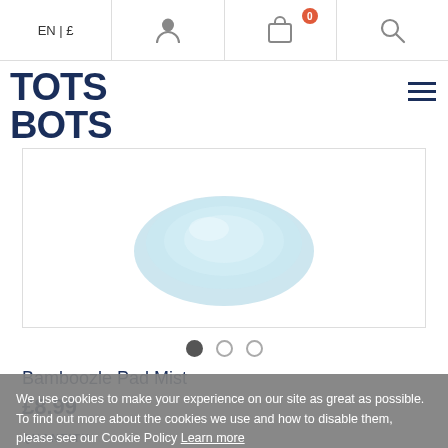EN | £  [user icon]  [bag icon, 0]  [search icon]
[Figure (logo): Tots Bots logo — bold dark navy block letters]
[Figure (photo): Product image of Bamboozle Pad Mist — a light blue circular fabric pad on white background]
[Figure (other): Carousel navigation dots — 3 dots, first filled, two empty circles]
Bamboozle Pad Mist
£8.99
QUANTITY
We use cookies to make your experience on our site as great as possible. To find out more about the cookies we use and how to disable them, please see our Cookie Policy Learn more
I AGREE